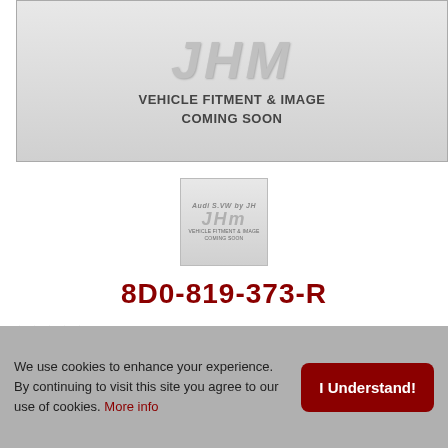[Figure (photo): JHM placeholder image showing 'VEHICLE FITMENT & IMAGE COMING SOON' on a gray gradient background with the JHM logo]
[Figure (thumbnail): Small thumbnail of the same JHM placeholder image]
8D0-819-373-R
★★★★★ Be the first to review this product
SKU: OEM-800819373R
We use cookies to enhance your experience. By continuing to visit this site you agree to our use of cookies. More info